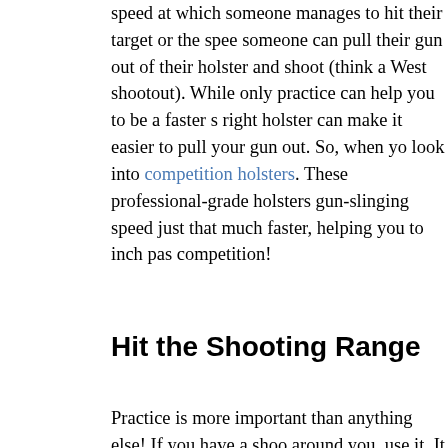speed at which someone manages to hit their target or the speed someone can pull their gun out of their holster and shoot (think a West shootout). While only practice can help you to be a faster s right holster can make it easier to pull your gun out. So, when yo look into competition holsters. These professional-grade holsters gun-slinging speed just that much faster, helping you to inch past competition!
Hit the Shooting Range
Practice is more important than anything else! If you have a shoo around you, use it. It will be your best asset. If the competition is certain shooting range, try to get your practice in there. This can the feeling of being in the real competition.
If there is not a shooting range around you, then you can still pra find yourself the same types of targets that will be used in the co Firstly, work on your accuracy. That is more important than anyth it comes to the judgment of shooting competitions! Once you hav focus on your speed. With both of these skills mastered, you are prize!
Even though it's a cliche, remember that practice makes perfect! holster can help you a little bit, but the right amount of practice ca